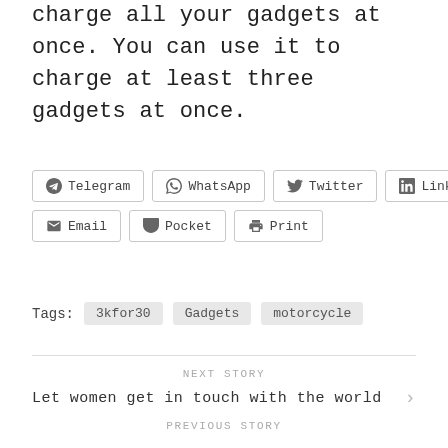charge all your gadgets at once. You can use it to charge at least three gadgets at once.
Telegram
WhatsApp
Twitter
LinkedIn
Email
Pocket
Print
Tags:  3kfor30  Gadgets  motorcycle
NEXT STORY
Let women get in touch with the world
PREVIOUS STORY